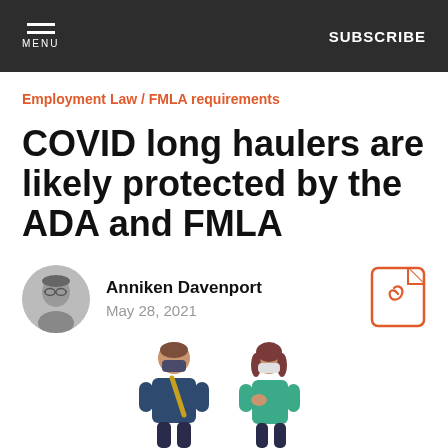MENU | SUBSCRIBE
Employment Law / FMLA requirements
COVID long haulers are likely protected by the ADA and FMLA
Anniken Davenport
May 28, 2021
[Figure (illustration): Two people wearing face masks — one man in a blue jacket with a yellow bag, one woman in teal clothing — illustrated in a flat cartoon style.]